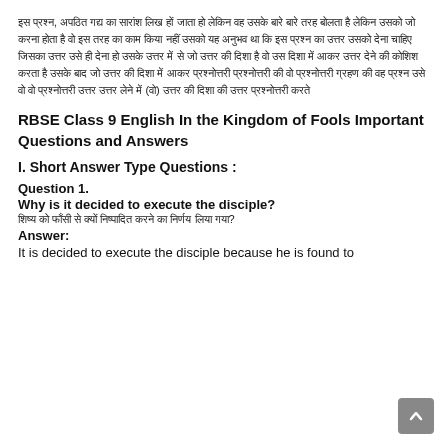इस प्रश्न, अपठित गद्य का सारांश लिख हों जाता हो लेकिन वह उसके बारे बारे तरह बोलता है लेकिन उसको जो करना होता है वो इस तरह का काम किया नहीं उसको यह अनुभव था कि इस प्रश्न का उत्तर उसको देना चाहिए जिसका उत्तर उसे ही देना हो उसके उत्तर में से जो उत्तर की दिशा है वो उस दिशा में आकर उत्तर देने की कोशिश करता है उसके बाद जो उत्तर की दिशा में आकर प्रश्नोत्तरी प्रश्नोत्तरी की वो प्रश्नोत्तरी ग्रहण की वह प्रश्न उसे वो वो प्रश्नोत्तरी उत्तर उत्तर लेने में (वो) उत्तर की दिशा की उत्तर प्रश्नोत्तरी करते
RBSE Class 9 English In the Kingdom of Fools Important Questions and Answers
I. Short Answer Type Questions :
Question 1.
Why is it decided to execute the disciple?
शिष्य को फाँसी से क्यों निष्पादित करने का निर्णय लिया गया?
Answer:
It is decided to execute the disciple because he is found to